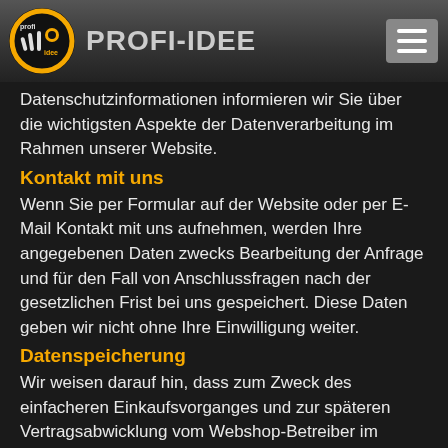Profi-Idee
Datenschutzinformationen informieren wir Sie über die wichtigsten Aspekte der Datenverarbeitung im Rahmen unserer Website.
Kontakt mit uns
Wenn Sie per Formular auf der Website oder per E-Mail Kontakt mit uns aufnehmen, werden Ihre angegebenen Daten zwecks Bearbeitung der Anfrage und für den Fall von Anschlussfragen nach der gesetzlichen Frist bei uns gespeichert. Diese Daten geben wir nicht ohne Ihre Einwilligung weiter.
Datenspeicherung
Wir weisen darauf hin, dass zum Zweck des einfacheren Einkaufsvorganges und zur späteren Vertragsabwicklung vom Webshop-Betreiber im Rahmen von Cookies die IP-Daten des Anschlussinhabers gespeichert werden, ebenso wie die von Ihnen angegebenen Daten wie Name, Anschrift, E-mail, UID-Nummer und Telefonnummer des Käufers. Die von Ihnen bereits gestellten Daten sind zu…